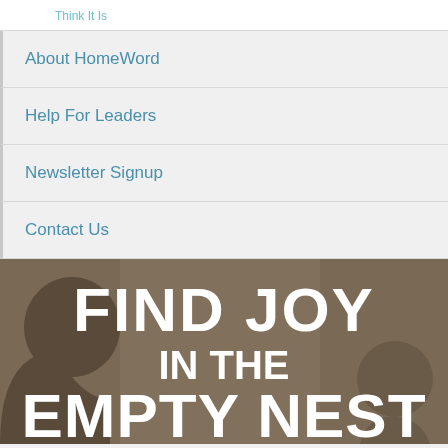Think It Is
About HomeWord
Help For Leaders
Newsletter Signup
Contact Us
[Figure (photo): Person photographed from the side with large white bold text overlay reading FIND JOY IN THE EMPTY NEST on a warm brown/beige background]